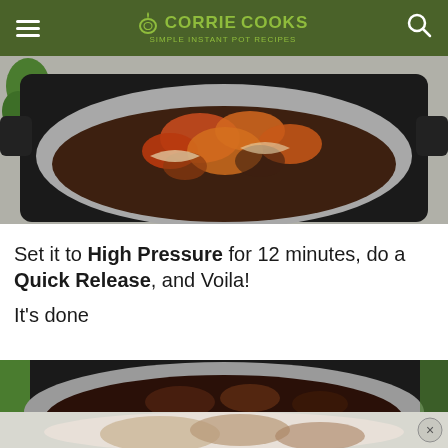CORRIE COOKS
[Figure (photo): Top-down view of raw marinated chicken pieces in an Instant Pot pressure cooker, showing dark sauce and onions]
Set it to High Pressure for 12 minutes, do a Quick Release, and Voila!
It's done
[Figure (photo): Top-down view of cooked dark-sauced meat in an Instant Pot inner pot, with green herbs visible at the edge]
[Figure (photo): Partial view of a plate with cooked meat, partially obscured by an overlay/popup close button]